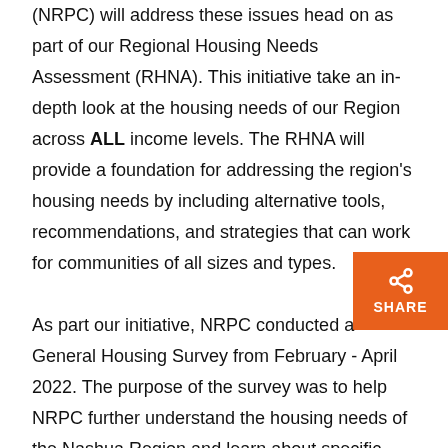(NRPC) will address these issues head on as part of our Regional Housing Needs Assessment (RHNA). This initiative take an in-depth look at the housing needs of our Region across ALL income levels. The RHNA will provide a foundation for addressing the region's housing needs by including alternative tools, recommendations, and strategies that can work for communities of all sizes and types.
As part our initiative, NRPC conducted a General Housing Survey from February - April 2022. The purpose of the survey was to help NRPC further understand the housing needs of the Nashua Region and learn about specific community needs. The survey consisted of 35 questions.